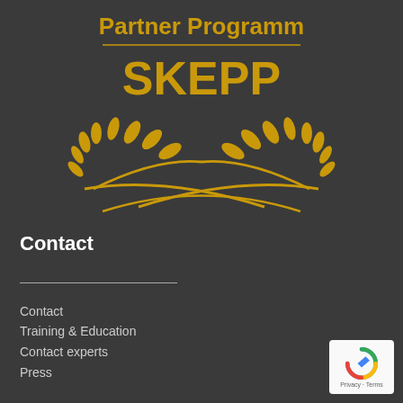[Figure (logo): SKEPP Partner Programm laurel wreath logo in gold on dark background, with text 'Partner Programm' and 'SKEPP']
Contact
Contact
Training & Education
Contact experts
Press
[Figure (logo): reCAPTCHA badge with Privacy - Terms text]